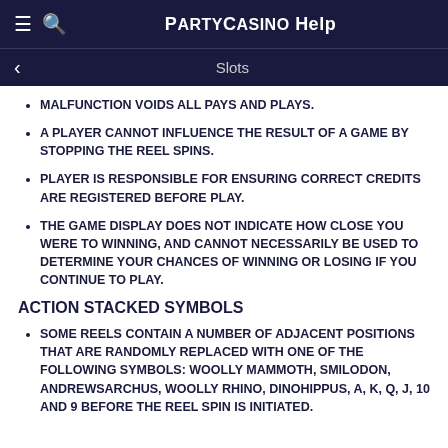PartyCasino Help
Slots
MALFUNCTION VOIDS ALL PAYS AND PLAYS.
A PLAYER CANNOT INFLUENCE THE RESULT OF A GAME BY STOPPING THE REEL SPINS.
PLAYER IS RESPONSIBLE FOR ENSURING CORRECT CREDITS ARE REGISTERED BEFORE PLAY.
THE GAME DISPLAY DOES NOT INDICATE HOW CLOSE YOU WERE TO WINNING, AND CANNOT NECESSARILY BE USED TO DETERMINE YOUR CHANCES OF WINNING OR LOSING IF YOU CONTINUE TO PLAY.
ACTION STACKED SYMBOLS
SOME REELS CONTAIN A NUMBER OF ADJACENT POSITIONS THAT ARE RANDOMLY REPLACED WITH ONE OF THE FOLLOWING SYMBOLS: WOOLLY MAMMOTH, SMILODON, ANDREWSARCHUS, WOOLLY RHINO, DINOHIPPUS, A, K, Q, J, 10 AND 9 BEFORE THE REEL SPIN IS INITIATED.